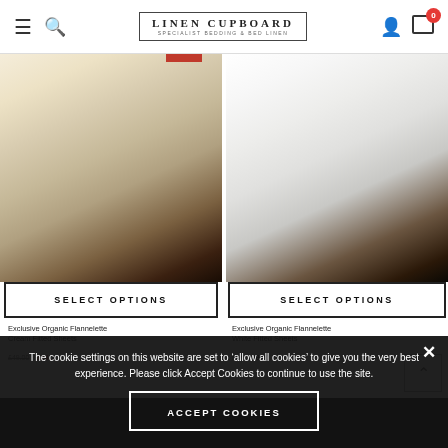Linen Cupboard — Specialist Bedding & Bed Linen
[Figure (photo): Product photo of cream/ivory organic flannelette sheet set folded on a bed]
[Figure (photo): Product photo of white organic flannelette sheet set folded on a bed]
SELECT OPTIONS
SELECT OPTIONS
Exclusive Organic Flannelette
Cream Fitted Sheets
£49.00  £24...
Exclusive Organic Flannelette
White Fitted Sheets
from £48.00
The cookie settings on this website are set to 'allow all cookies' to give you the very best experience. Please click Accept Cookies to continue to use the site.
ACCEPT COOKIES